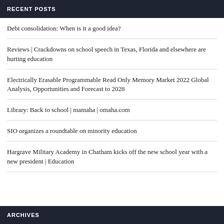RECENT POSTS
Debt consolidation: When is it a good idea?
Reviews | Crackdowns on school speech in Texas, Florida and elsewhere are hurting education
Electrically Erasable Programmable Read Only Memory Market 2022 Global Analysis, Opportunities and Forecast to 2028
Library: Back to school | mamaha | omaha.com
SIO organizes a roundtable on minority education
Hargrave Military Academy in Chatham kicks off the new school year with a new president | Education
ARCHIVES